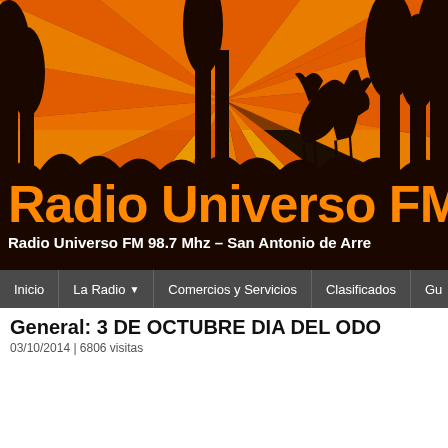[Figure (illustration): Radio Universo FM website header banner with orange and black silhouette of trees and horse against orange sunburst background. Large orange text reads 'Radio Universo FM 9' (truncated). Below reads 'Radio Universo FM 98.7 Mhz – San Antonio de Arre' (truncated).]
Inicio | La Radio | Comercios y Servicios | Clasificados | Gu
General: 3 DE OCTUBRE DIA DEL ODO
03/10/2014 | 6806 visitas
[Figure (illustration): Greeting card image with white bold text 'Felíz día del Odontólogo' on gray background, with orange text '3 de Octu' (truncated) at bottom, and a cartoon tooth character on the right.]